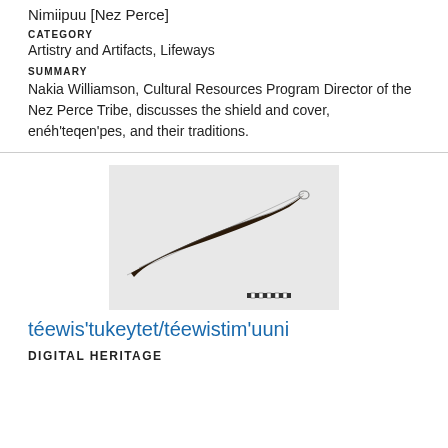Nimiipuu [Nez Perce]
CATEGORY
Artistry and Artifacts, Lifeways
SUMMARY
Nakia Williamson, Cultural Resources Program Director of the Nez Perce Tribe, discusses the shield and cover, enéh'teqen'pes, and their traditions.
[Figure (photo): A long curved needle or awl artifact photographed against a light gray background with a small scale bar at the bottom right.]
téewis'tukeytet/téewistim'uuni
DIGITAL HERITAGE